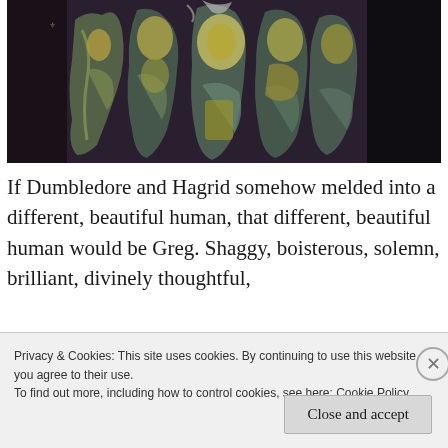[Figure (illustration): Abstract painting with dark background showing loosely rendered human figures in muted green, yellow, and blue tones against a dark purple-black background.]
If Dumbledore and Hagrid somehow melded into a different, beautiful human, that different, beautiful human would be Greg. Shaggy, boisterous, solemn, brilliant, divinely thoughtful,
Privacy & Cookies: This site uses cookies. By continuing to use this website, you agree to their use.
To find out more, including how to control cookies, see here: Cookie Policy
Close and accept